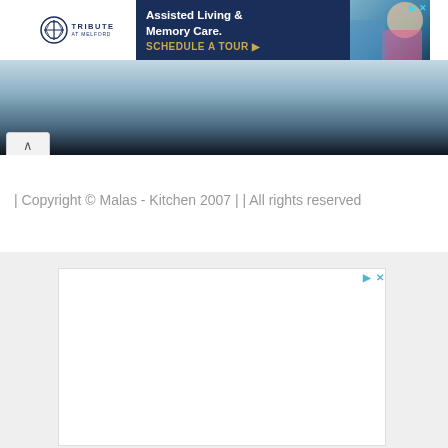[Figure (screenshot): Advertisement banner for Tribute at Melford Assisted Living and Memory Care with schedule a tour CTA]
[Figure (screenshot): Blue decorative strip with scroll-up arrow button]
| Copyright © Malas - Kitchen 2007 | | All rights reserved
[Figure (screenshot): Advertisement placeholder box with ad controls icons on grey background]